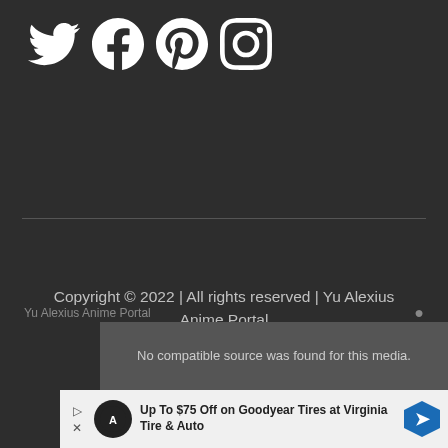[Figure (illustration): Social media icons: Twitter bird, Facebook f, Pinterest p, Instagram camera — white icons on dark background]
Copyright © 2022 | All rights reserved | Yu Alexius Anime Portal
Yu Alexius Anime Portal
No compatible source was found for this media.
Up To $75 Off on Goodyear Tires at Virginia Tire & Auto